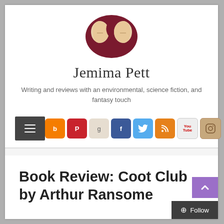[Figure (logo): Oval logo with two beige/cream face profiles facing each other against a dark red/maroon background, forming an S-shape]
Jemima Pett
Writing and reviews with an environmental, science fiction, and fantasy touch
[Figure (infographic): Navigation bar with hamburger menu button on left and row of social media icons (Blogger, Pinterest, Goodreads, Facebook, Twitter, RSS, YouTube, Instagram) on right]
Book Review: Coot Club by Arthur Ransome